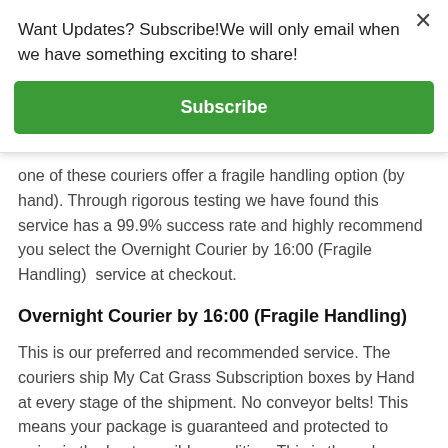Want Updates? Subscribe!We will only email when we have something exciting to share!
Subscribe
one of these couriers offer a fragile handling option (by hand). Through rigorous testing we have found this service has a 99.9% success rate and highly recommend you select the Overnight Courier by 16:00 (Fragile Handling)  service at checkout.
Overnight Courier by 16:00 (Fragile Handling)
This is our preferred and recommended service. The couriers ship My Cat Grass Subscription boxes by Hand at every stage of the shipment. No conveyor belts! This means your package is guaranteed and protected to arrive in the best possible condition. This is the only service we can offer product quality